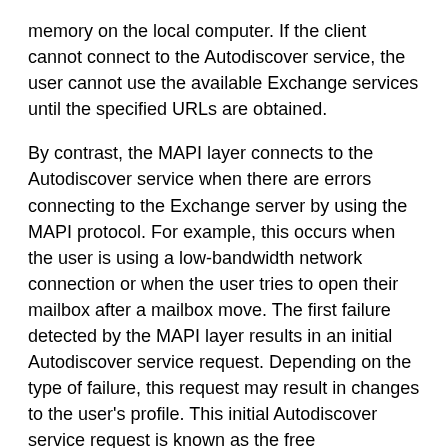memory on the local computer. If the client cannot connect to the Autodiscover service, the user cannot use the available Exchange services until the specified URLs are obtained.
By contrast, the MAPI layer connects to the Autodiscover service when there are errors connecting to the Exchange server by using the MAPI protocol. For example, this occurs when the user is using a low-bandwidth network connection or when the user tries to open their mailbox after a mailbox move. The first failure detected by the MAPI layer results in an initial Autodiscover service request. Depending on the type of failure, this request may result in changes to the user's profile. This initial Autodiscover service request is known as the free Autodiscover service request. If no other failures occur after the first failure, the MAPI layer will perform an Autodiscover service request every 6 hours to update the user's profile settings.